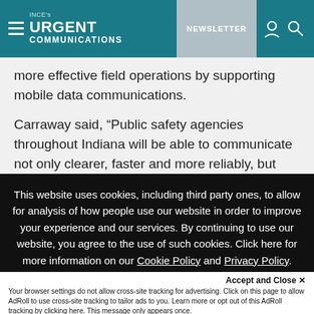INCE's URGENT COMMUNICATIONS | NEWSLETTER
more effective field operations by supporting mobile data communications.
Carraway said, “Public safety agencies throughout Indiana will be able to communicate not only clearer, faster and more reliably, but interagency communications for mutual aid among local departments and the state will be greatly improved.”
This website uses cookies, including third party ones, to allow for analysis of how people use our website in order to improve your experience and our services. By continuing to use our website, you agree to the use of such cookies. Click here for more information on our Cookie Policy and Privacy Policy.
Accept and Close × Your browser settings do not allow cross-site tracking for advertising. Click on this page to allow AdRoll to use cross-site tracking to tailor ads to you. Learn more or opt out of this AdRoll tracking by clicking here. This message only appears once.